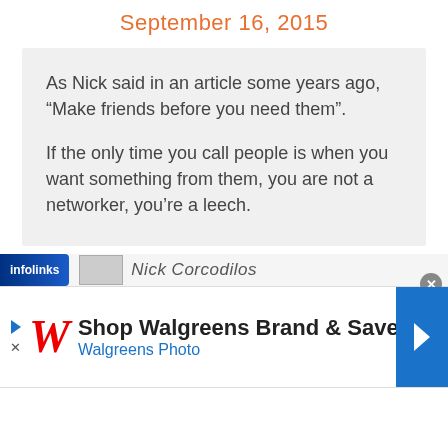September 16, 2015
As Nick said in an article some years ago, “Make friends before you need them”.

If the only time you call people is when you want something from them, you are not a networker, you’re a leech.
[Figure (screenshot): Infolinks bar with partial author name 'Nick Corcodilos' partially visible]
[Figure (screenshot): Walgreens advertisement banner: Shop Walgreens Brand & Save, Walgreens Photo]